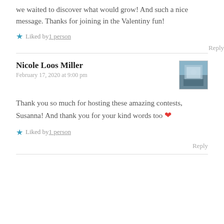we waited to discover what would grow! And such a nice message. Thanks for joining in the Valentiny fun!
Liked by 1 person
Reply
Nicole Loos Miller
February 17, 2020 at 9:00 pm
Thank you so much for hosting these amazing contests, Susanna! And thank you for your kind words too ❤
Liked by 1 person
Reply